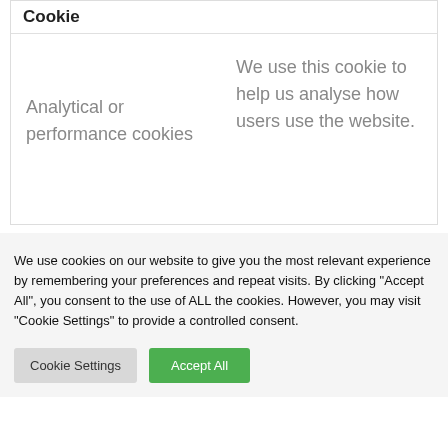| Cookie |  |
| --- | --- |
| Analytical or performance cookies | We use this cookie to help us analyse how users use the website. |
We use cookies on our website to give you the most relevant experience by remembering your preferences and repeat visits. By clicking "Accept All", you consent to the use of ALL the cookies. However, you may visit "Cookie Settings" to provide a controlled consent.
Cookie Settings
Accept All